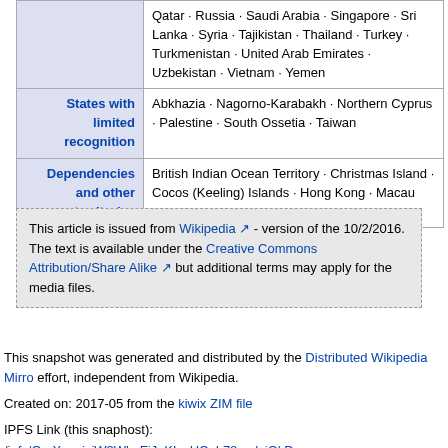|  | Countries/Territories |
| --- | --- |
|  | Qatar · Russia · Saudi Arabia · Singapore · Sri Lanka · Syria · Tajikistan · Thailand · Turkey · Turkmenistan · United Arab Emirates · Uzbekistan · Vietnam · Yemen |
| States with limited recognition | Abkhazia · Nagorno-Karabakh · Northern Cyprus · Palestine · South Ossetia · Taiwan |
| Dependencies and other territories | British Indian Ocean Territory · Christmas Island · Cocos (Keeling) Islands · Hong Kong · Macau |
This article is issued from Wikipedia - version of the 10/2/2016. The text is available under the Creative Commons Attribution/Share Alike but additional terms may apply for the media files.
This snapshot was generated and distributed by the Distributed Wikipedia Mirror effort, independent from Wikipedia.
Created on: 2017-05 from the kiwix ZIM file
IPFS Link (this snaphost): /ipfs/QmXoypizjW3WknFiJnKLwHCnL72vedxjQkD...
IPNS Link (most recent): /ipns/QmdJiuMWp2FxyaerfLrtdLF6Nr1EWnL7dPA...